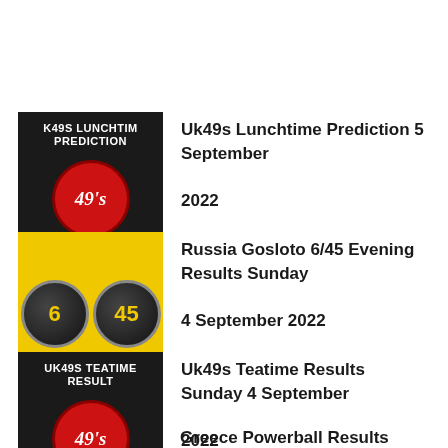Uk49s Lunchtime Prediction 5 September 2022
Russia Gosloto 6/45 Evening Results Sunday 4 September 2022
Uk49s Teatime Results Sunday 4 September 2022
Greece Powerball Results Sunday 4